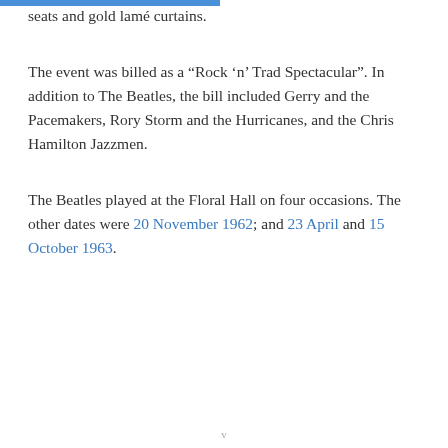seats and gold lamé curtains.
The event was billed as a “Rock ‘n’ Trad Spectacular”. In addition to The Beatles, the bill included Gerry and the Pacemakers, Rory Storm and the Hurricanes, and the Chris Hamilton Jazzmen.
The Beatles played at the Floral Hall on four occasions. The other dates were 20 November 1962; and 23 April and 15 October 1963.